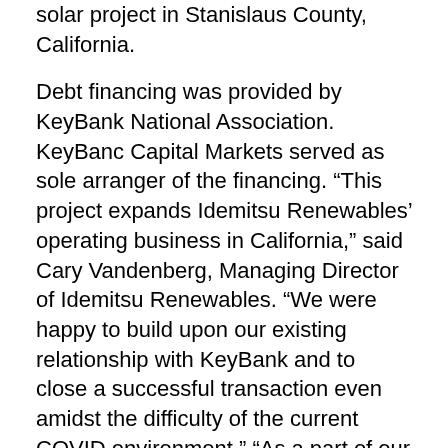solar project in Stanislaus County, California.
Debt financing was provided by KeyBank National Association. KeyBanc Capital Markets served as sole arranger of the financing. “This project expands Idemitsu Renewables’ operating business in California,” said Cary Vandenberg, Managing Director of Idemitsu Renewables. “We were happy to build upon our existing relationship with KeyBank and to close a successful transaction even amidst the difficulty of the current COVID environment.” “As a part of our continuing support for renewable energy, we are pleased to support the growth of Idemitsu Renewables’ solar business in California,” said Andrew Redinger, Manager Director & Group Head, Utilities Power & Renewables at KeyBanc Capital Markets.
The renewable power generated by Central 40 will be sold through a power purchase agreement with Silicon Valley Power, which serves the City of Santa Clara. Idemitsu Renewables, the US-based renewable energy subsidiary